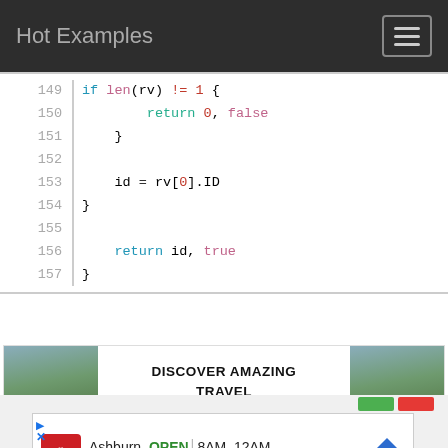Hot Examples
[Figure (screenshot): Code viewer showing lines 149-157 of Go code with syntax highlighting. Line 149: if len(rv) != 1 {, Line 150: return 0, false, Line 151: }, Line 152: (blank), Line 153: id = rv[0].ID, Line 154: }, Line 155: (blank), Line 156: return id, true, Line 157: }]
[Figure (photo): Advertisement banner for sidestage.com showing Yosemite travel photos and text DISCOVER AMAZING TRAVEL SIDESTAGE.COM]
[Figure (screenshot): CVS Pharmacy ad showing Ashburn location open 8AM-12AM at 43930 Farmwell Hunt Plaza with navigation arrow icon]